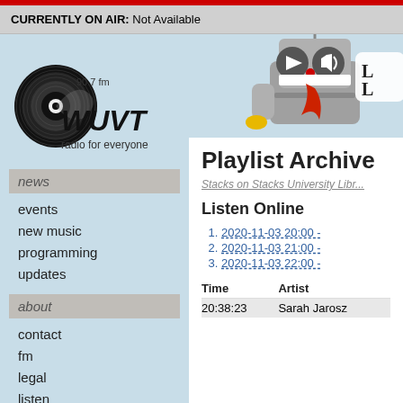CURRENTLY ON AIR: Not Available
[Figure (logo): WUVT 90.7 fm radio for everyone vinyl record logo]
[Figure (illustration): Robot mascot illustration holding a phone with play and volume buttons]
news
events
new music
programming
updates
about
contact
fm
legal
listen
staff
station
wishlist
wuvt needs boards
Playlist Archive
Stacks on Stacks University Libr...
Listen Online
2020-11-03 20:00 -
2020-11-03 21:00 -
2020-11-03 22:00 -
| Time | Artist |
| --- | --- |
| 20:38:23 | Sarah Jarosz |